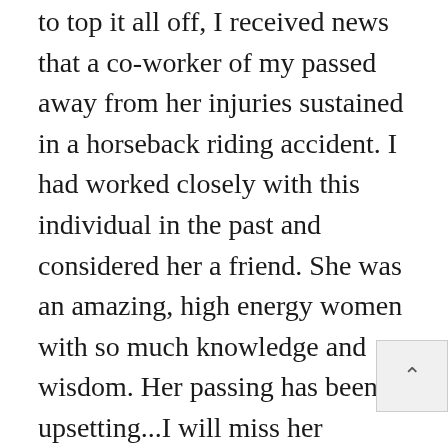to top it all off, I received news that a co-worker of my passed away from her injuries sustained in a horseback riding accident. I had worked closely with this individual in the past and considered her a friend. She was an amazing, high energy women with so much knowledge and wisdom. Her passing has been upsetting...I will miss her greatly.
Our frugal accomplishments for the week are:
*Meals made at home included breaded